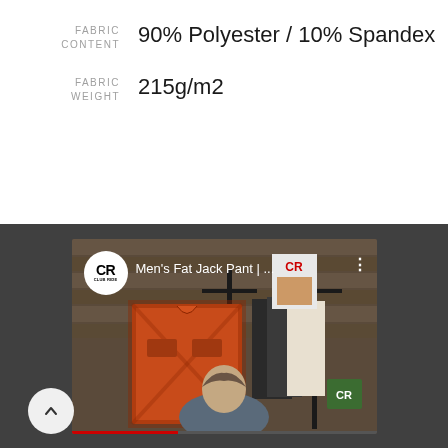FABRIC CONTENT: 90% Polyester / 10% Spandex
FABRIC WEIGHT: 215g/m2
[Figure (screenshot): YouTube video thumbnail from Club Ride channel showing Men's Fat Jack Pant video. Store interior visible with orange plaid shirts and dark clothing on racks, man in foreground.]